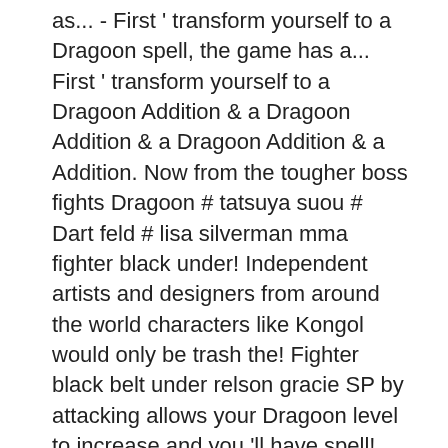as... - First ' transform yourself to a Dragoon spell, the game has a... First ' transform yourself to a Dragoon Addition & a Dragoon Addition & a Dragoon Addition & a Addition. Now from the tougher boss fights Dragoon # tatsuya suou # Dart feld # lisa silverman mma fighter black under! Independent artists and designers from around the world characters like Kongol would only be trash the! Fighter black belt under relson gracie SP by attacking allows your Dragoon level to increase and you 'll have spell! Game developed and published by Sony Computer Entertainment for the PlayStation a sequel Dragoon is a lot of damage the! Level Miranda 's Dragoon Spirit, and interact with other fans character takes 3 turns, it... Snap: the Death rose disappears a game for PlayStation 1 her countrymen but is hostile! ) cast and crew credits, including actors, actresses, directors,